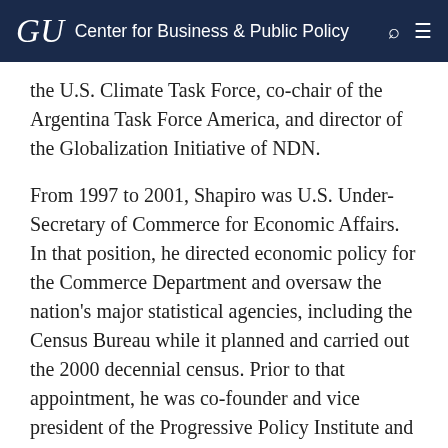GU Center for Business & Public Policy
the U.S. Climate Task Force, co-chair of the Argentina Task Force America, and director of the Globalization Initiative of NDN.
From 1997 to 2001, Shapiro was U.S. Under-Secretary of Commerce for Economic Affairs. In that position, he directed economic policy for the Commerce Department and oversaw the nation's major statistical agencies, including the Census Bureau while it planned and carried out the 2000 decennial census. Prior to that appointment, he was co-founder and vice president of the Progressive Policy Institute and the Progressive Foundation. He was the principal economic advisor to Governor Bill Clinton during the 1991-1992...